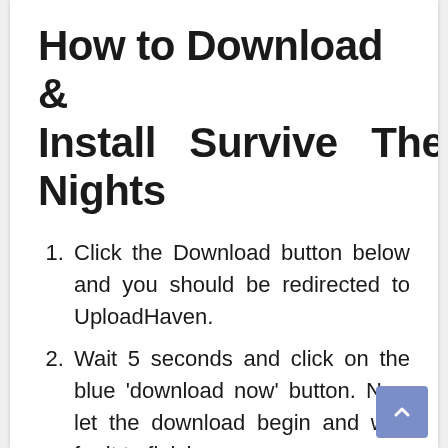How to Download & Install Survive The Nights
Click the Download button below and you should be redirected to UploadHaven.
Wait 5 seconds and click on the blue 'download now' button. Now let the download begin and wait for it to finish.
Once Survive The Nights is done downloading, right click the .zip file and click on “Extract to Survive The Nights” (To do this you must have 7-Zip, which you can get here).
Double click inside the Survive The